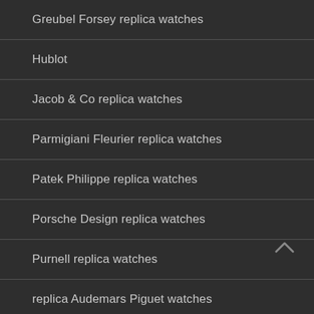Greubel Forsey replica watches
Hublot
Jacob & Co replica watches
Parmigiani Fleurier replica watches
Patek Philippe replica watches
Porsche Design replica watches
Purnell replica watches
replica Audemars Piguet watches
replica Blancpain watches
replica Breguet Watches